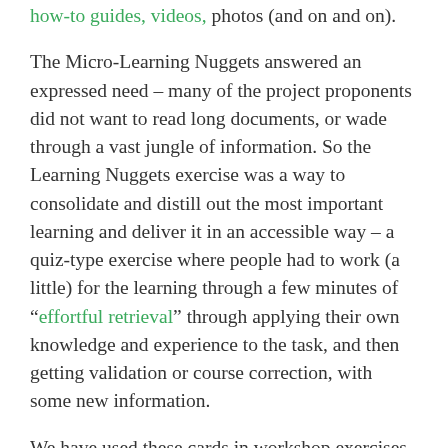how-to guides, videos, photos (and on and on).
The Micro-Learning Nuggets answered an expressed need – many of the project proponents did not want to read long documents, or wade through a vast jungle of information. So the Learning Nuggets exercise was a way to consolidate and distill out the most important learning and deliver it in an accessible way – a quiz-type exercise where people had to work (a little) for the learning through a few minutes of "effortful retrieval" through applying their own knowledge and experience to the task, and then getting validation or course correction, with some new information.
We have used these cards in workshop exercises in many ways as you can imagine with people